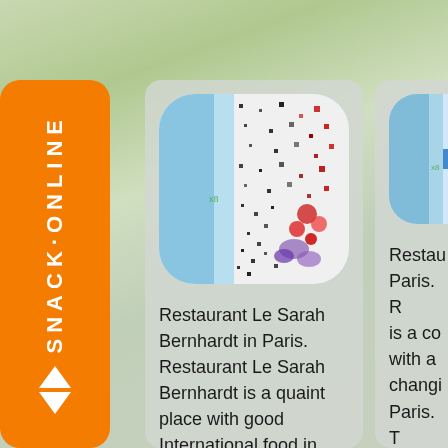[Figure (screenshot): Mobile app screenshot showing restaurant listing page with orange sidebar navigation labeled SNACK-ONLINE with up/down arrows, and two restaurant cards. First card shows app icon with pixel-art style image and text: Restaurant Le Sarah Bernhardt in Paris. Restaurant Le Sarah Bernhardt is a quaint place with good International food in Paris. They have a [continues]. Second card partially visible with blue arrow icon and truncated text: Restau... Paris. R... is a co... with a... changi... Paris. T... lovely...]
Restaurant Le Sarah Bernhardt in Paris. Restaurant Le Sarah Bernhardt is a quaint place with good International food in Paris. They have a
Restau... Paris. R... is a co... with a... changi... Paris. T... lovely...